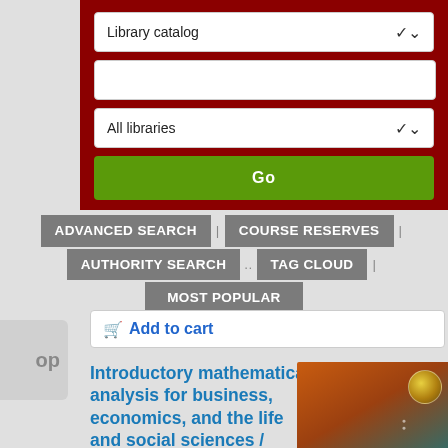[Figure (screenshot): Library catalog search interface with dropdown 'Library catalog', text input field, 'All libraries' dropdown, and green 'Go' button on dark red background]
ADVANCED SEARCH | COURSE RESERVES | AUTHORITY SEARCH .. TAG CLOUD | MOST POPULAR
Add to cart
Introductory mathematical analysis for business, economics, and the life and social sciences / Ernest F. Haeussler, Jr., Richard S. Paul, Richard J. Wood
[Figure (photo): Book cover of Introductory Mathematical Analysis showing curved orange/teal shapes with title text and authors]